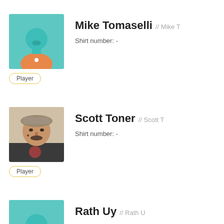[Figure (illustration): Avatar placeholder with teal background and silhouette icon for Mike Tomaselli]
Mike Tomaselli // Mike T
Shirt number: -
Player
[Figure (photo): Profile photo of Scott Toner, a man with a beard and cap]
Scott Toner // Scott T
Shirt number: -
Player
[Figure (illustration): Avatar placeholder with teal background and silhouette icon for Rath Uy]
Rath Uy // Rath U
Shirt number: -